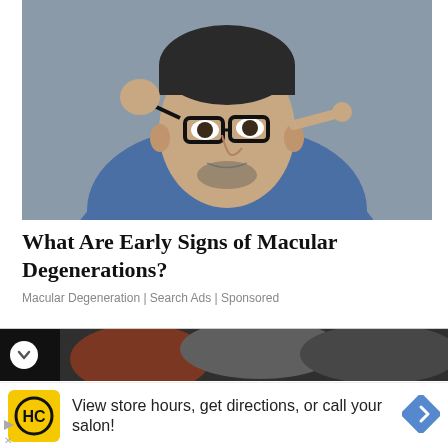[Figure (photo): Man in blue denim shirt holding glasses away from his face and pointing at his eye against a grey background]
What Are Early Signs of Macular Degenerations?
Macular Degeneration | Search Ads | Sponsored
[Figure (photo): Partial view of a person with reddish-brown and grey hair against a dark background]
[Figure (logo): HC logo on yellow background - salon/haircare brand advertisement: View store hours, get directions, or call your salon!]